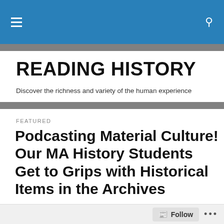READING HISTORY — navigation bar
READING HISTORY
Discover the richness and variety of the human experience
FEATURED
Podcasting Material Culture! Our MA History Students Get to Grips with Historical Items in the Archives
Episode Two: Amy Longmuir and a
Follow